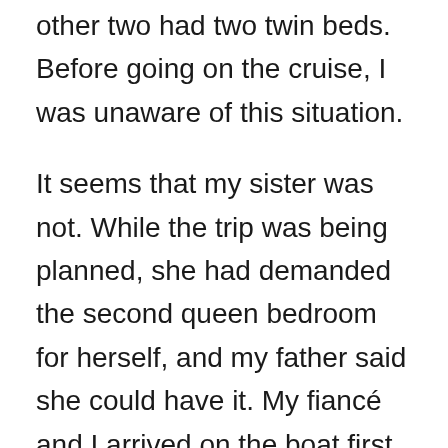other two had two twin beds. Before going on the cruise, I was unaware of this situation.

It seems that my sister was not. While the trip was being planned, she had demanded the second queen bedroom for herself, and my father said she could have it. My fiancé and I arrived on the boat first and were shown to our room—which had a queen bed. Not knowing the lack of a